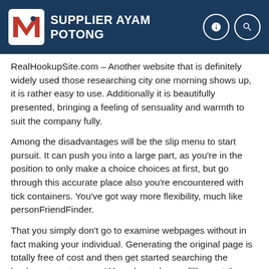SUPPLIER AYAM POTONG
RealHookupSite.com – Another website that is definitely widely used those researching city one morning shows up, it is rather easy to use. Additionally it is beautifully presented, bringing a feeling of sensuality and warmth to suit the company fully.
Among the disadvantages will be the slip menu to start pursuit. It can push you into a large part, as you're in the position to only make a choice choices at first, but go through this accurate place also you're encountered with tick containers. You've got way more flexibility, much like personFriendFinder.
That you simply don't go to examine webpages without in fact making your individual. Generating the original page is totally free of cost and then get started searching the hookups near to your. Although you began filling out the page, you are likely to commence to consider quantity and women on the site in your location. it is typically a radius, as a result is going to take proper care of men and women